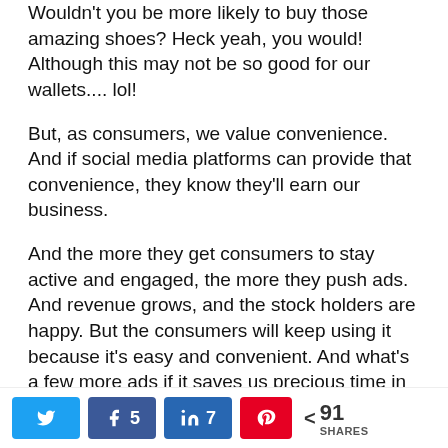Wouldn't you be more likely to buy those amazing shoes? Heck yeah, you would! Although this may not be so good for our wallets.... lol!
But, as consumers, we value convenience. And if social media platforms can provide that convenience, they know they'll earn our business.
And the more they get consumers to stay active and engaged, the more they push ads. And revenue grows, and the stock holders are happy. But the consumers will keep using it because it's easy and convenient. And what's a few more ads if it saves us precious time in our day? It's all one vicious cycle, isn't it?
So, yes, I can be cynical about the whole
Twitter | Facebook 5 | LinkedIn 7 | Pinterest | < 91 SHARES